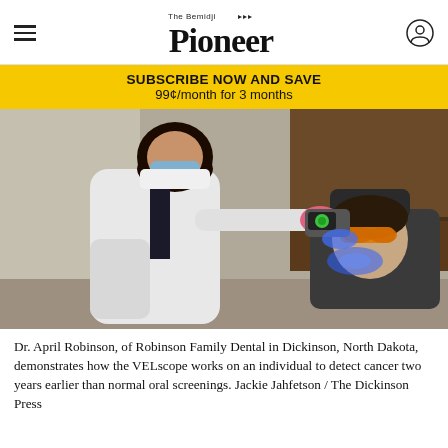The Bemidji Pioneer
SUBSCRIBE NOW AND SAVE
99¢/month for 3 months
[Figure (photo): Dr. April Robinson in a white lab coat and blue face mask wearing pink gloves uses a VELscope device with blue light on a patient reclined in a dental chair wearing orange protective glasses. The dental office setting shows wooden cabinetry in the background.]
Dr. April Robinson, of Robinson Family Dental in Dickinson, North Dakota, demonstrates how the VELscope works on an individual to detect cancer two years earlier than normal oral screenings. Jackie Jahfetson / The Dickinson Press